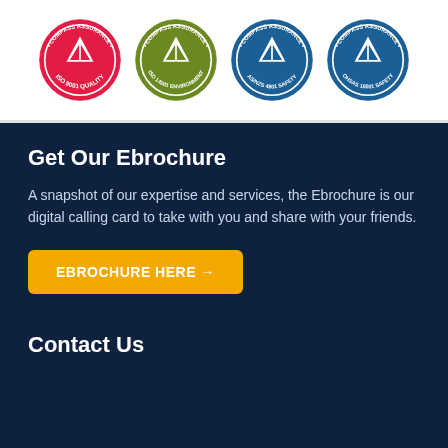[Figure (logo): Four Compass Assurance certification badges: ISO 9001 Quality (red), ISO 14001 Environment (green), AS/NZS 4801 Safety (blue), OHSAS 18001 Safety (blue)]
Get Our Ebrochure
A snapshot of our expertise and services, the Ebrochure is our digital calling card to take with you and share with your friends.
EBROCHURE HERE →
Contact Us